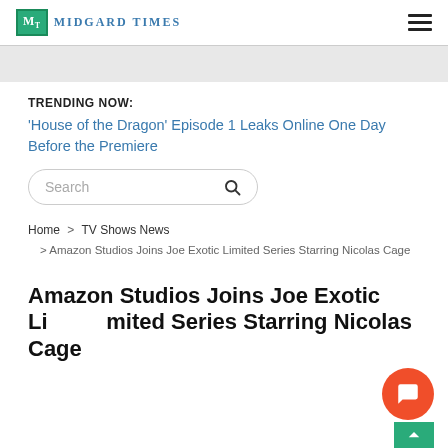MT MIDGARD TIMES
TRENDING NOW:
'House of the Dragon' Episode 1 Leaks Online One Day Before the Premiere
Search
Home > TV Shows News > Amazon Studios Joins Joe Exotic Limited Series Starring Nicolas Cage
Amazon Studios Joins Joe Exotic Limited Series Starring Nicolas Cage